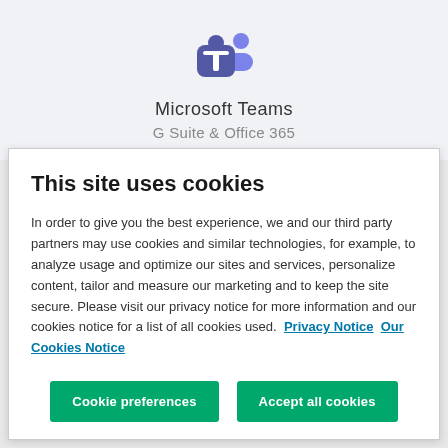[Figure (logo): Microsoft Teams logo — purple T icon with two person silhouettes]
Microsoft Teams
G Suite & Office 365
This site uses cookies
In order to give you the best experience, we and our third party partners may use cookies and similar technologies, for example, to analyze usage and optimize our sites and services, personalize content, tailor and measure our marketing and to keep the site secure. Please visit our privacy notice for more information and our cookies notice for a list of all cookies used.  Privacy Notice  Our Cookies Notice
Cookie preferences
Accept all cookies